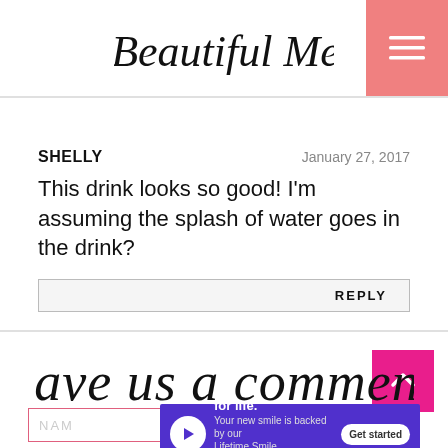A Beautiful Mess
SHELLY
January 27, 2017
This drink looks so good! I'm assuming the splash of water goes in the drink?
REPLY
[Figure (other): leave us a comment! handwritten script heading]
NAME
[Figure (other): Smile Direct Club advertisement banner: 'Guaranteed smiles for life. Your new smile is backed by our Lifetime Smile Guarantee.']